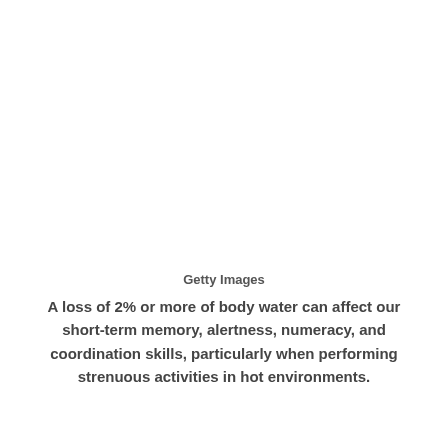Getty Images
A loss of 2% or more of body water can affect our short-term memory, alertness, numeracy, and coordination skills, particularly when performing strenuous activities in hot environments.